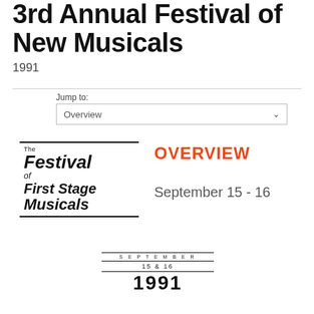3rd Annual Festival of New Musicals
1991
Jump to:
Overview
[Figure (logo): The Festival of First Stage Musicals logo with top and bottom border lines, italic bold text]
OVERVIEW
September 15 - 16
[Figure (logo): Bottom logo showing SEPTEMBER / 15 & 16 / 1991 with horizontal lines above and between text]